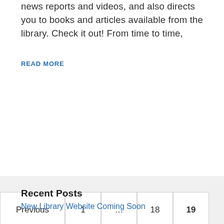news reports and videos, and also directs you to books and articles available from the library. Check it out! From time to time,
READ MORE
Previous  1  ...  18  19  20  Next
Recent Posts
New Library Website Coming Soon